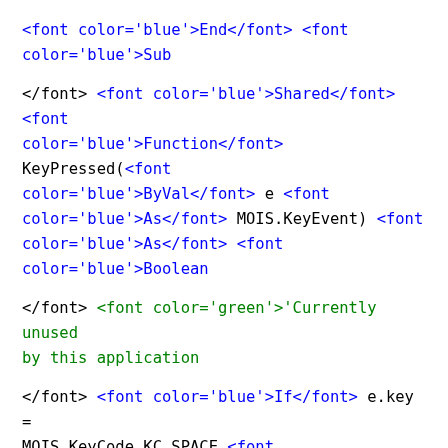<font color='blue'>End</font> <font color='blue'>Sub
</font> <font color='blue'>Shared</font> <font color='blue'>Function</font> KeyPressed(<font color='blue'>ByVal</font> e <font color='blue'>As</font> MOIS.KeyEvent) <font color='blue'>As</font> <font color='blue'>Boolean
</font> <font color='green'>'Currently unused by this application
</font> <font color='blue'>If</font> e.key = MOIS.KeyCode.KC_SPACE <font color='blue'>Then
</font> myRobotMode = <font color='blue'>Not</font> myRobotMode